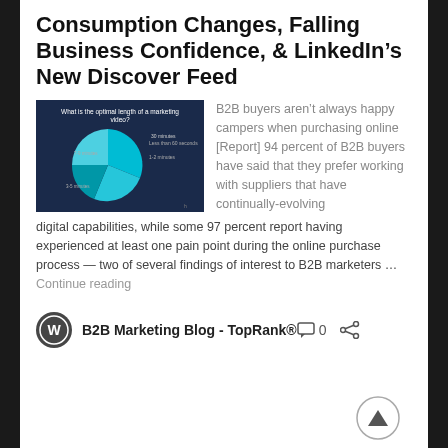Consumption Changes, Falling Business Confidence, & LinkedIn’s New Discover Feed
[Figure (pie-chart): Pie chart titled 'What is the optimal length of a marketing video?' showing segments in teal/blue colors with labels for different time durations]
B2B buyers aren’t always happy campers when purchasing online [Report] 94 percent of B2B buyers have said that they prefer working with suppliers that have continually-evolving digital capabilities, while some 97 percent report having experienced at least one pain point during the online purchase process — two of several findings of interest to B2B marketers … Continue reading
B2B Marketing Blog - TopRank®
0